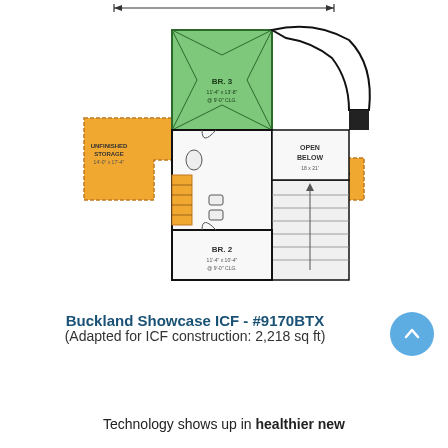[Figure (engineering-diagram): Second floor plan of Buckland Showcase ICF house showing BR 3 (green), BR 2, Unfinished Storage (orange, two areas), Open Below, bathroom, and staircase. Dimension arrow shown at top.]
Buckland Showcase ICF - #9170BTX
(Adapted for ICF construction: 2,218 sq ft)
Technology shows up in healthier new